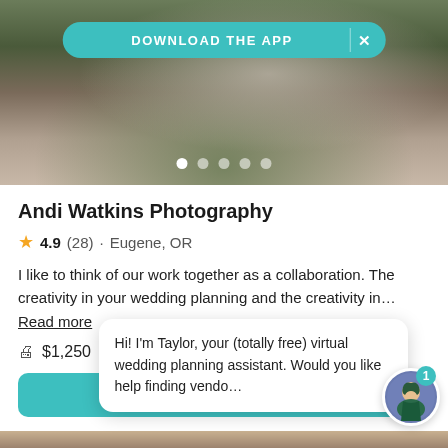[Figure (photo): Wedding couple photo with dark foliage background, man in dark suit and woman in white dress]
DOWNLOAD THE APP
Andi Watkins Photography
4.9 (28) · Eugene, OR
I like to think of our work together as a collaboration. The creativity in your wedding planning and the creativity in... Read more
$1,250
Request pricing
Hi! I'm Taylor, your (totally free) virtual wedding planning assistant. Would you like help finding vendo...
[Figure (photo): Bottom partial photo of outdoor scene]